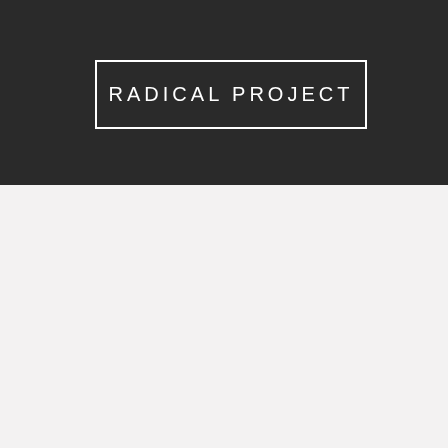RADICAL PROJECT
[Figure (other): Light gray blank lower section of page]